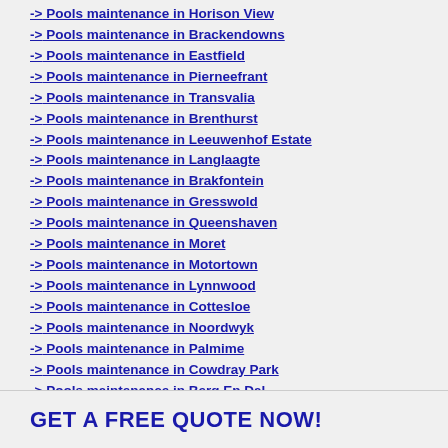-> Pools maintenance in Horison View
-> Pools maintenance in Brackendowns
-> Pools maintenance in Eastfield
-> Pools maintenance in Pierneefrant
-> Pools maintenance in Transvalia
-> Pools maintenance in Brenthurst
-> Pools maintenance in Leeuwenhof Estate
-> Pools maintenance in Langlaagte
-> Pools maintenance in Brakfontein
-> Pools maintenance in Gresswold
-> Pools maintenance in Queenshaven
-> Pools maintenance in Moret
-> Pools maintenance in Motortown
-> Pools maintenance in Lynnwood
-> Pools maintenance in Cottesloe
-> Pools maintenance in Noordwyk
-> Pools maintenance in Palmime
-> Pools maintenance in Cowdray Park
-> Pools maintenance in Berg En Dal
-> Pools maintenance in Burgerspark
-> Pools maintenance in Radiokop
GET A FREE QUOTE NOW!